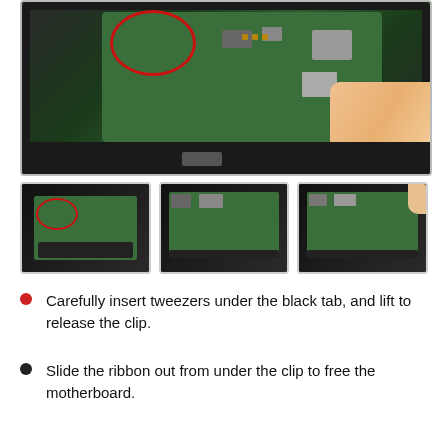[Figure (photo): Close-up photo of an opened electronic device showing a green PCB circuit board with a red circle annotation highlighting a connector area. A hand is visible on the right side holding or manipulating the device.]
[Figure (photo): Three thumbnail photos showing sequential steps of working on the device PCB, showing the internal circuit board from different angles.]
Carefully insert tweezers under the black tab, and lift to release the clip.
Slide the ribbon out from under the clip to free the motherboard.